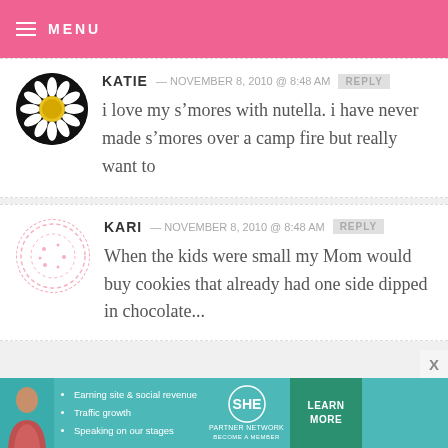MENU
KATIE — NOVEMBER 8, 2010 @ 8:48 AM REPLY
i love my s’mores with nutella. i have never made s’mores over a camp fire but really want to
KARI — NOVEMBER 8, 2010 @ 8:48 AM REPLY
When the kids were small my Mom would buy cookies that already had one side dipped in chocolate...
[Figure (infographic): SHE Partner Network advertisement banner with woman photo, bullet points about earning site & social revenue, traffic growth, speaking on our stages, SHE logo, and Learn More button]